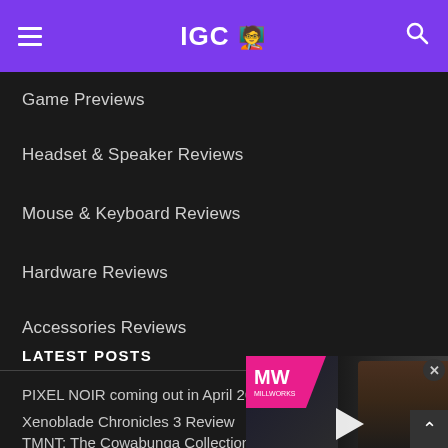IGC 🧑‍🎤
Game Previews
Headset & Speaker Reviews
Mouse & Keyboard Reviews
Hardware Reviews
Accessories Reviews
LATEST POSTS
[Figure (screenshot): Video player overlay showing MW logo and The Last of Us Remake Revealed thumbnail with play button]
PIXEL NOIR coming out in April 20...
Xenoblade Chronicles 3 Review
TMNT: The Cowabunga Collection PS4 Review
Teenage Mutant Ninja Turtles: The Cowabunga Collection Launch Trailer